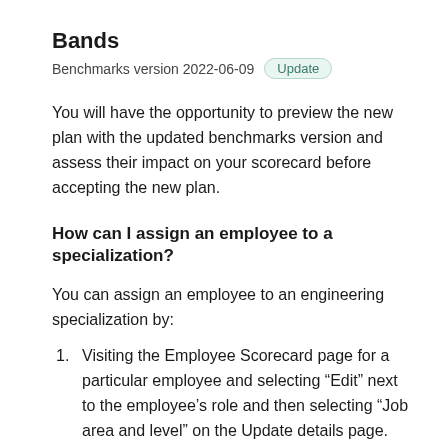Bands
Benchmarks version 2022-06-09  Update
You will have the opportunity to preview the new plan with the updated benchmarks version and assess their impact on your scorecard before accepting the new plan.
How can I assign an employee to a specialization?
You can assign an employee to an engineering specialization by:
Visiting the Employee Scorecard page for a particular employee and selecting “Edit” next to the employee’s role and then selecting “Job area and level” on the Update details page.